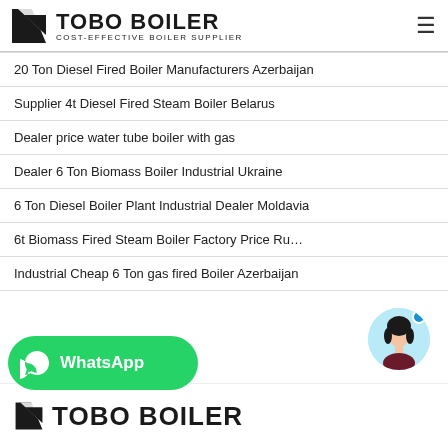TOBO BOILER — COST-EFFECTIVE BOILER SUPPLIER
20 Ton Diesel Fired Boiler Manufacturers Azerbaijan
Supplier 4t Diesel Fired Steam Boiler Belarus
Dealer price water tube boiler with gas
Dealer 6 Ton Biomass Boiler Industrial Ukraine
6 Ton Diesel Boiler Plant Industrial Dealer Moldavia
6t Biomass Fired Steam Boiler Factory Price Ru…
Industrial Cheap 6 Ton gas fired Boiler Azerbaijan
[Figure (logo): WhatsApp button with green background and phone icon]
[Figure (photo): Chat support avatar of a woman in a circular light blue frame with blue dot]
TOBO BOILER logo at bottom